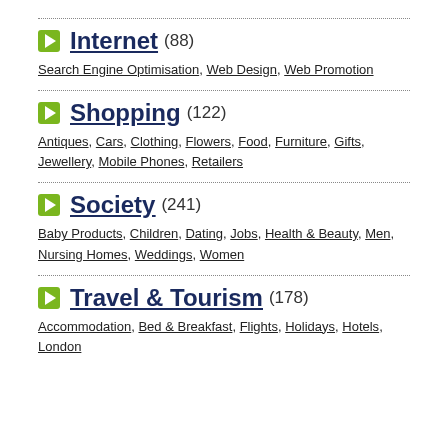Internet (88) — Search Engine Optimisation, Web Design, Web Promotion
Shopping (122) — Antiques, Cars, Clothing, Flowers, Food, Furniture, Gifts, Jewellery, Mobile Phones, Retailers
Society (241) — Baby Products, Children, Dating, Jobs, Health & Beauty, Men, Nursing Homes, Weddings, Women
Travel & Tourism (178) — Accommodation, Bed & Breakfast, Flights, Holidays, Hotels, London